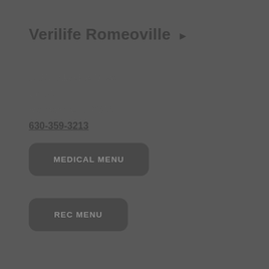Verilife Romeoville ▶
1335 Lakeside Drive
Unit 4
Romeoville, IL 60446
630-359-3213
MEDICAL MENU
REC MENU